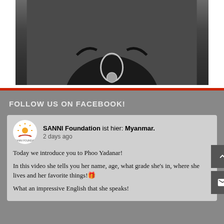[Figure (photo): Portrait photo of a person wearing a black jacket with beaded decoration and a silver chain necklace with pendant, photographed from chest up against a gray background.]
FOLLOW US ON FACEBOOK!
SANNI Foundation ist hier: Myanmar.
2 days ago
Today we introduce you to Phoo Yadanar!

In this video she tells you her name, age, what grade she's in, where she lives and her favorite things!🎁

What an impressive English that she speaks!